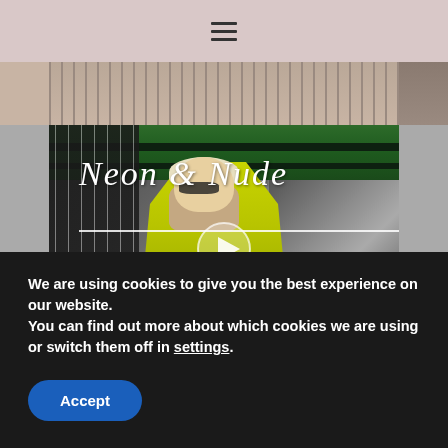≡ (hamburger menu)
[Figure (photo): Partial top image showing a room interior with a chair visible on the right side, in muted beige/brown tones]
[Figure (screenshot): Video thumbnail showing a blonde woman wearing a neon yellow/lime blazer and nude strapless top with sunglasses, standing in an urban underpass with green ceiling beams and vertical fence strips. A play button is overlaid in the center. Title text reads 'Neon & Nude' in white serif italic font with an underline.]
We are using cookies to give you the best experience on our website.
You can find out more about which cookies we are using or switch them off in settings.
Accept